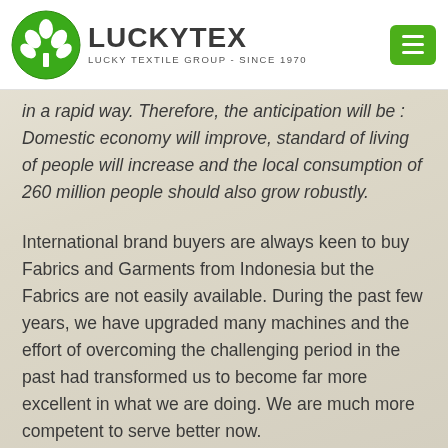LUCKYTEX - LUCKY TEXTILE GROUP - SINCE 1970
in a rapid way. Therefore, the anticipation will be : Domestic economy will improve, standard of living of people will increase and the local consumption of 260 million people should also grow robustly.
International brand buyers are always keen to buy Fabrics and Garments from Indonesia but the Fabrics are not easily available. During the past few years, we have upgraded many machines and the effort of overcoming the challenging period in the past had transformed us to become far more excellent in what we are doing. We are much more competent to serve better now.
We have successfully implemented the Textile ERP system